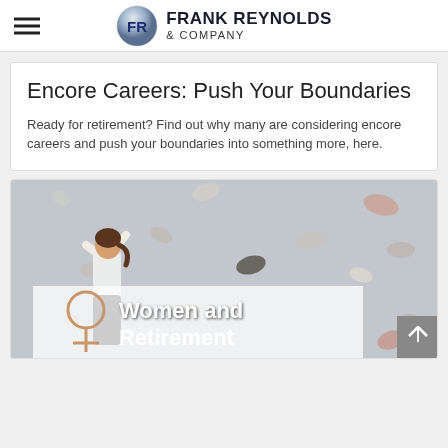Frank Reynolds & Company
Encore Careers: Push Your Boundaries
Ready for retirement? Find out why many are considering encore careers and push your boundaries into something more, here.
[Figure (photo): Woman rock climbing on an indoor climbing wall with colorful holds. Overlay shows a female gender symbol and text 'Women and Retirement'.]